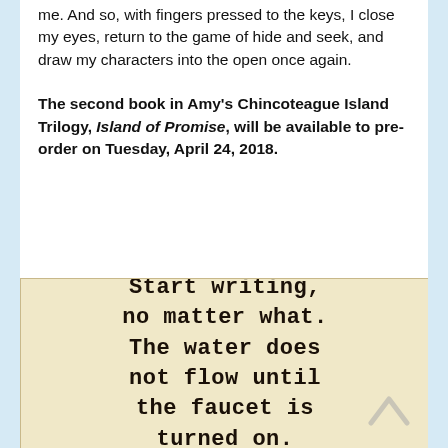me. And so, with fingers pressed to the keys, I close my eyes, return to the game of hide and seek, and draw my characters into the open once again.
The second book in Amy's Chincoteague Island Trilogy, Island of Promise, will be available to pre-order on Tuesday, April 24, 2018.
[Figure (illustration): Vintage typewriter-style text on aged paper background reading: 'Start writing, no matter what. The water does not flow until the faucet is turned on.' with a back-to-top arrow icon in the lower right corner.]